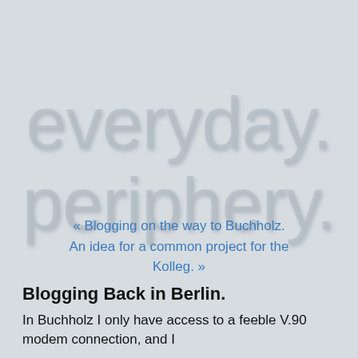everyday. periphery.
« Blogging on the way to Buchholz. An idea for a common project for the Kolleg. »
Blogging Back in Berlin.
In Buchholz I only have access to a feeble V.90 modem connection, and I